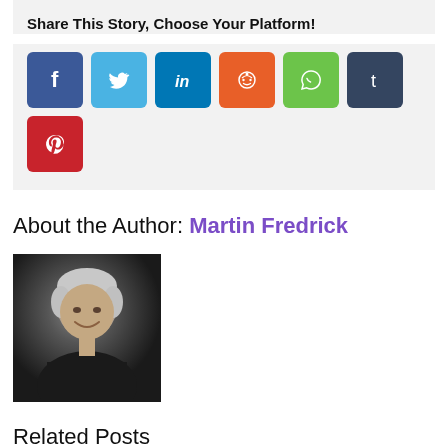Share This Story, Choose Your Platform!
[Figure (infographic): Social media share buttons: Facebook, Twitter, LinkedIn, Reddit, WhatsApp, Tumblr, Pinterest]
About the Author: Martin Fredrick
[Figure (photo): Headshot of Martin Fredrick, an older man with grey hair, smiling, wearing a dark jacket against a dark background]
Related Posts